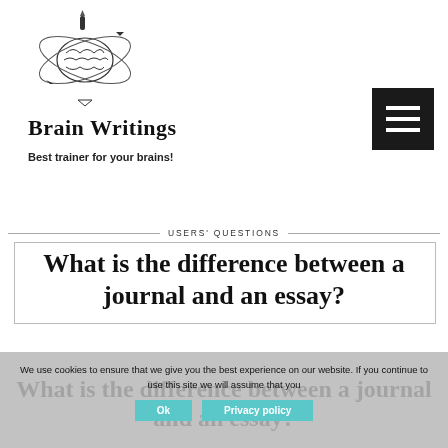[Figure (illustration): Brain Writings logo: a stylized brain with orbital rings and arrow motifs, pen and tools, black and white sketch illustration]
Brain Writings
Best trainer for your brains!
USERS' QUESTIONS
What is the difference between a journal and an essay?
We use cookies to ensure that we give you the best experience on our website. If you continue to use this site we will assume that you
What is the difference between a journal and an essay?